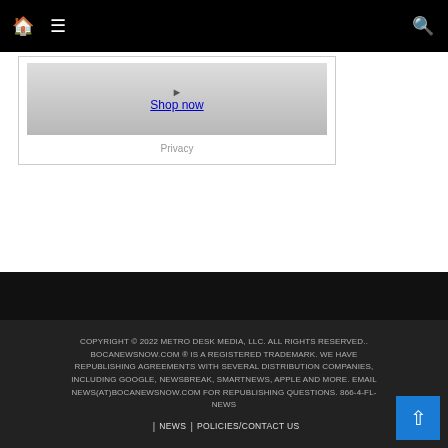🏠 ☰ 🔍
[Figure (other): Advertisement box with 'Shop now' link and 'Privacy' text below]
COPYRIGHT © 2022 METRO DESK MEDIA, LLC. ALL RIGHTS RESERVED.. BOCANEWSNOW.COM ® IS A REGISTERED TRADEMARK. WE HAVE REPUBLISHING AGREEMENTS WITH SEVERAL DISTRIBUTION COMPANIES, INCLUDING GOOGLE, NEWSBREAK, SMARTNEWS, APPLE AND MORE. EMAIL NEWS(AT)BOCANEWSNOW.COM FOR REPUBLISHING QUESTIONS. 866-4-FL-NEWS | NEWS | POLICIES/CONTACT US